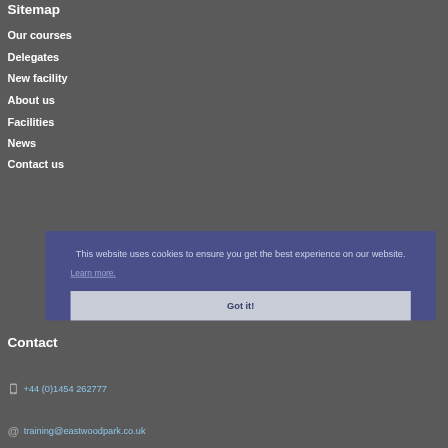Sitemap
Our courses
Delegates
New facility
About us
Facilities
News
Contact us
Contact
+44 (0)1454 262777
training@eastwoodpark.co.uk
This website uses cookies to ensure you get the best experience on our website.
Learn more.
Got it!